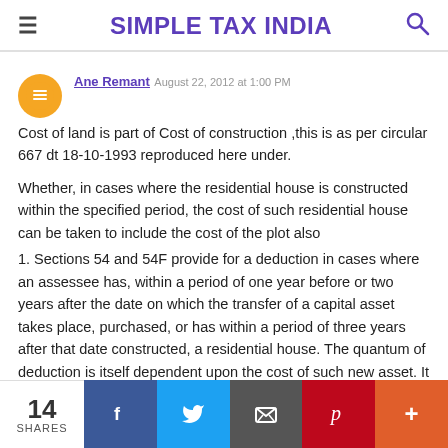SIMPLE TAX INDIA
Ane Remant  August 22, 2012 at 1:00 PM
Cost of land is part of Cost of construction ,this is as per circular 667 dt 18-10-1993 reproduced here under.

Whether, in cases where the residential house is constructed within the specified period, the cost of such residential house can be taken to include the cost of the plot also
1. Sections 54 and 54F provide for a deduction in cases where an assessee has, within a period of one year before or two years after the date on which the transfer of a capital asset takes place, purchased, or has within a period of three years after that date constructed, a residential house. The quantum of deduction is itself dependent upon the cost of such new asset. It has been
14 SHARES  f  Twitter  Email  Pinterest  +